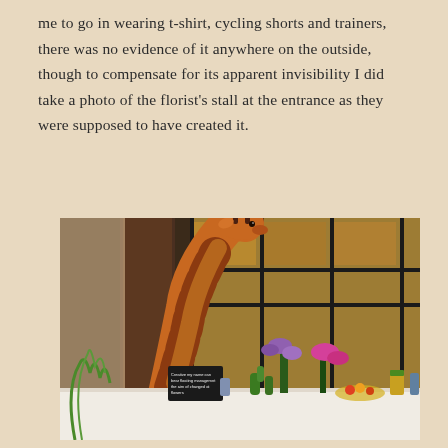me to go in wearing t-shirt, cycling shorts and trainers, there was no evidence of it anywhere on the outside, though to compensate for its apparent invisibility I did take a photo of the florist's stall at the entrance as they were supposed to have created it.
[Figure (photo): A florist's stall at a restaurant entrance featuring a large decorative giraffe sculpture/statue with its neck extended, surrounded by flowers, plants, cacti, and various floral arrangements on a white counter. The background shows large dark-framed windows of what appears to be an upscale restaurant interior.]